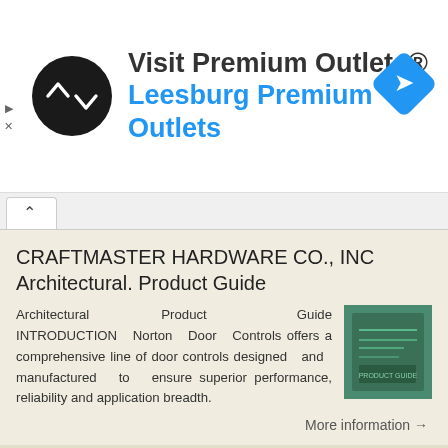[Figure (other): Advertisement banner for Visit Premium Outlets® - Leesburg Premium Outlets with logo circle and navigation diamond icon]
CRAFTMASTER HARDWARE CO., INC
Architectural. Product Guide
Architectural Product Guide INTRODUCTION Norton Door Controls offers a comprehensive line of door controls designed and manufactured to ensure superior performance, reliability and application breadth.
[Figure (photo): Book cover thumbnail for Architectural Product Guide with teal/green colored cover]
More information →
7100SZ SERIES. Multi-Point Closer/Holder with Motion Sensor
safezone Multi-Point Closer/Holder with Motion Sensor introduction. Designed with
[Figure (photo): Small thumbnail image of 7100SZ product guide with teal cover]